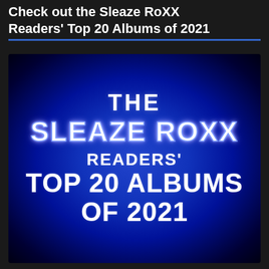Check out the Sleaze RoXX Readers' Top 20 Albums of 2021
[Figure (illustration): A dark blue radial gradient background image with bold white text reading: THE SLEAZE ROXX READERS' TOP 20 ALBUMS OF 2021. The 'SLEAZE ROXX' text has a neon blue glow/outline effect.]